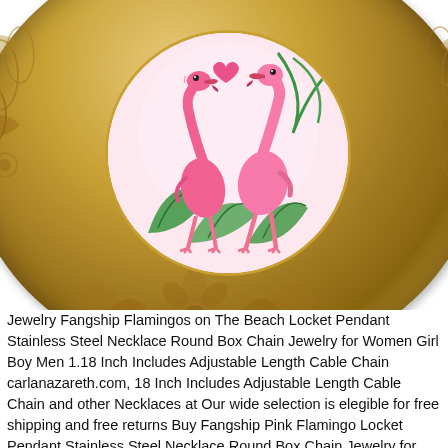[Figure (photo): Close-up of a gold ornate locket pendant with a circular window showing two pink flamingos with green tropical leaves on a pink background. The locket has detailed floral and leaf engravings on its gold surface.]
Jewelry Fangship Flamingos on The Beach Locket Pendant Stainless Steel Necklace Round Box Chain Jewelry for Women Girl Boy Men 1.18 Inch Includes Adjustable Length Cable Chain carlanazareth.com, 18 Inch Includes Adjustable Length Cable Chain and other Necklaces at Our wide selection is elegible for free shipping and free returns Buy Fangship Pink Flamingo Locket Pendant Stainless Steel Necklace Round Box Chain Jewelry for Women Girl Boy Men 1 Incredible Deals on the Hottest Boutique. High Quality Low Cost, Fangship Flamingos on The Beach Locket Pendant Stainless Steel Necklace Round Box Chain Jewelry for Women Girl Boy Men 1.18 Inch Includes Adjustable Length